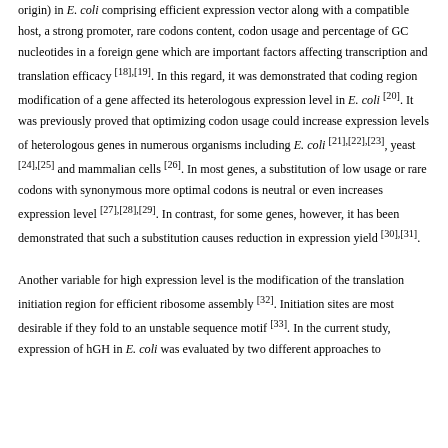origin) in E. coli comprising efficient expression vector along with a compatible host, a strong promoter, rare codons content, codon usage and percentage of GC nucleotides in a foreign gene which are important factors affecting transcription and translation efficacy [18],[19]. In this regard, it was demonstrated that coding region modification of a gene affected its heterologous expression level in E. coli [20]. It was previously proved that optimizing codon usage could increase expression levels of heterologous genes in numerous organisms including E. coli [21],[22],[23], yeast [24],[25] and mammalian cells [26]. In most genes, a substitution of low usage or rare codons with synonymous more optimal codons is neutral or even increases expression level [27],[28],[29]. In contrast, for some genes, however, it has been demonstrated that such a substitution causes reduction in expression yield [30],[31]. Another variable for high expression level is the modification of the translation initiation region for efficient ribosome assembly [32]. Initiation sites are most desirable if they fold to an unstable sequence motif [33]. In the current study, expression of hGH in E. coli was evaluated by two different approaches to